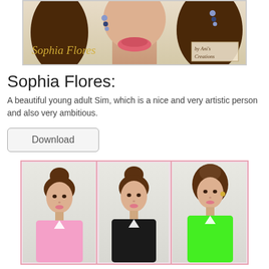[Figure (illustration): Close-up portrait of Sophia Flores sim character with brown hair, earrings, pink lips. Text overlay reads 'Sophia Flores' in gold script and 'by Ani's Creations' in bottom right corner.]
Sophia Flores:
A beautiful young adult Sim, which is a nice and very artistic person and also very ambitious.
[Figure (illustration): Three panel image showing the Sophia Flores Sim character wearing different colored tops: pink, black, and green. All panels show her with hair in a bun.]